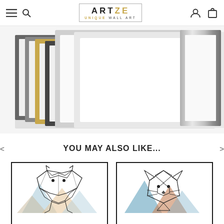ARTZE UNIQUE WALL ART — navigation header with menu, search, account, cart icons
[Figure (photo): Array of picture frames in various finishes (white, silver, gold, black, grey) fanned out showing frame options]
YOU MAY ALSO LIKE...
[Figure (illustration): Geometric origami-style bear or animal art print with pastel mountain shapes, in black frame]
[Figure (illustration): Geometric origami-style fox or cat art print with pastel blue, brown triangles, in black frame]